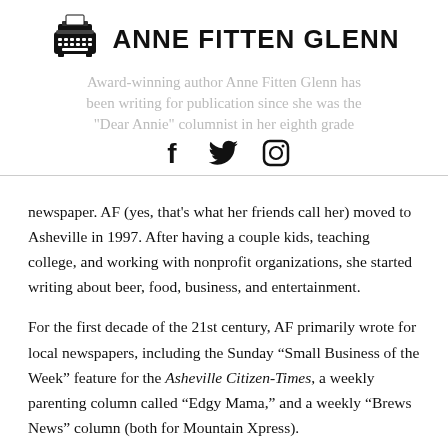[Figure (logo): Typewriter icon logo for Anne Fitten Glenn blog]
ANNE FITTEN GLENN
Award-winning author Anne Fitten Glenn has been writing for publication since she was the "Dear Annie" columnist in her eighth grade newspaper. AF (yes, that's what her friends call her) moved to Asheville in 1997. After having a couple kids, teaching college, and working with nonprofit organizations, she started writing about beer, food, business, and entertainment.
For the first decade of the 21st century, AF primarily wrote for local newspapers, including the Sunday “Small Business of the Week” feature for the Asheville Citizen-Times, a weekly parenting column called “Edgy Mama,” and a weekly “Brews News” column (both for Mountain Xpress).